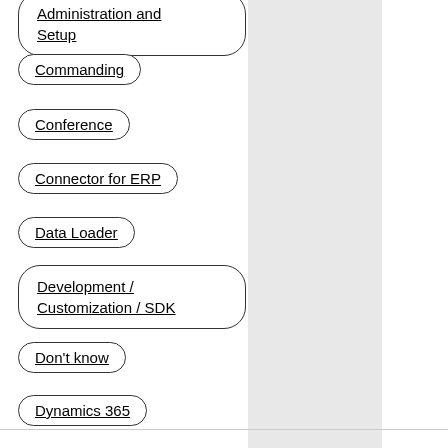Administration and Setup
Commanding
Conference
Connector for ERP
Data Loader
Development / Customization / SDK
Don't know
Dynamics 365